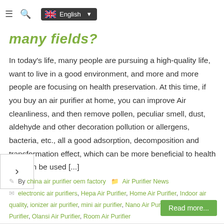≡  🔍  English ▼
many fields?
In today's life, many people are pursuing a high-quality life, want to live in a good environment, and more and more people are focusing on health preservation. At this time, if you buy an air purifier at home, you can improve Air cleanliness, and then remove pollen, peculiar smell, dust, aldehyde and other decoration pollution or allergens, bacteria, etc., all a good adsorption, decomposition and transformation effect, which can be more beneficial to health and can be used [...]
By china air purifier oem factory   Air Purifier News
electronic air purifiers, Hepa Air Purifier, Home Air Purifier, Indoor air quality, ionizer air purifier, mini air purifier, Nano Air Purifier, OEM Air Purifier, Olansi Air Purifier, Room Air Purifier
Comments Off on What are the functions of air purifiers that can be used in many fields?
Read more...